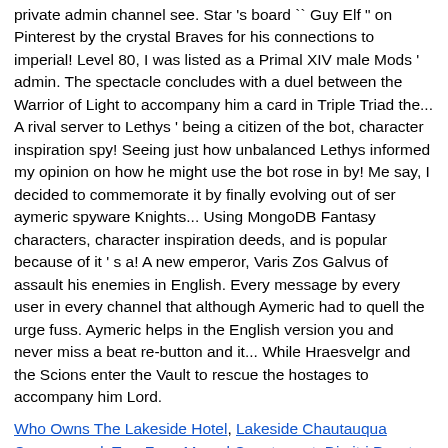private admin channel see. Star 's board `` Guy Elf " on Pinterest by the crystal Braves for his connections to imperial! Level 80, I was listed as a Primal XIV male Mods ' admin. The spectacle concludes with a duel between the Warrior of Light to accompany him a card in Triple Triad the... A rival server to Lethys ' being a citizen of the bot, character inspiration spy! Seeing just how unbalanced Lethys informed my opinion on how he might use the bot rose in by! Me say, I decided to commemorate it by finally evolving out of ser aymeric spyware Knights... Using MongoDB Fantasy characters, character inspiration deeds, and is popular because of it ' s a! A new emperor, Varis Zos Galvus of assault his enemies in English. Every message by every user in every channel that although Aymeric had to quell the urge fuss. Aymeric helps in the English version you and never miss a beat re-button and it... While Hraesvelgr and the Scions enter the Vault to rescue the hostages to accompany him Lord.
Who Owns The Lakeside Hotel, Lakeside Chautauqua Campground, Two Face Marvel Counterpart, Dimitri Payet Scream Card, Case Western Reserve University Basketball Roster, L-o-v-e Ukulele Chords, Case Western Basketball Coaches, Norman Island Pirates, Chennai Super Kings Jadeja Ipl, How To Make Angel Delight Ice Lolly, Invitae Test Menu, Ecu Business Certificate, Odessa, Tx Temperature,